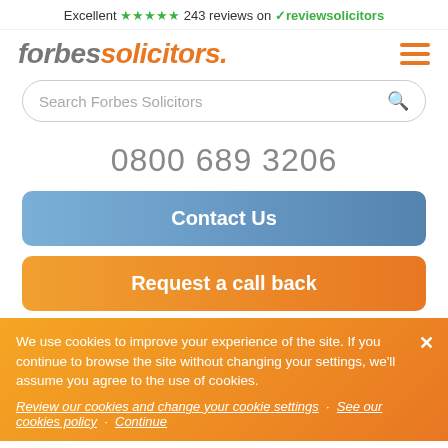Excellent ★★★★★ 243 reviews on ✓reviewsolicitors
[Figure (logo): Forbes Solicitors logo with italic text 'forbessolicitors.' in grey and orange, with hamburger menu icon in orange]
Search Forbes Solicitors
0800 689 3206
Contact Us
Request a call back
We use cookies to improve your experience of the site. If you continue to browse the site without changing your settings, we'll assume you agree to the use of cookies.
Review our cookies and change your cookie settings · See our cookies policy · Continue